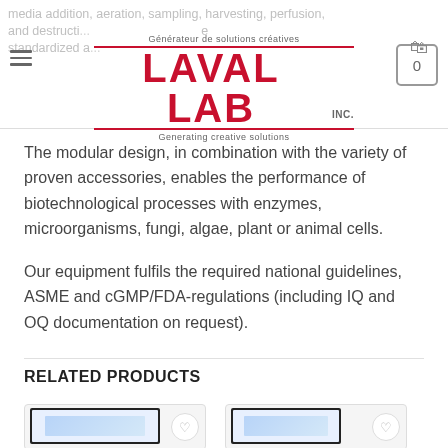Laval Lab Inc. — Générateur de solutions créatives / Generating creative solutions
media addition, aeration, sampling, harvesting, perfusion, and destructi... standardized a...
The modular design, in combination with the variety of proven accessories, enables the performance of biotechnological processes with enzymes, microorganisms, fungi, algae, plant or animal cells.
Our equipment fulfils the required national guidelines, ASME and cGMP/FDA-regulations (including IQ and OQ documentation on request).
RELATED PRODUCTS
[Figure (photo): Product thumbnail image 1]
[Figure (photo): Product thumbnail image 2 with heart/wishlist button]